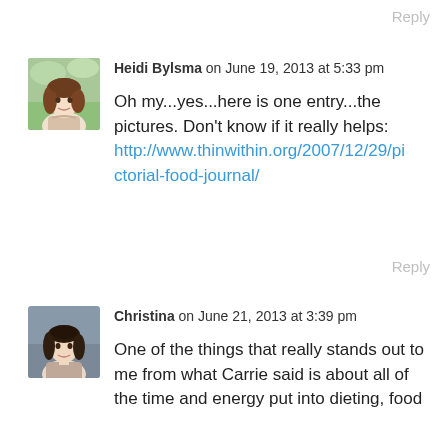Reply
[Figure (photo): Avatar photo of Heidi Bylsma, woman with brown hair outdoors]
Heidi Bylsma on June 19, 2013 at 5:33 pm
Oh my...yes...here is one entry...the pictures. Don't know if it really helps: http://www.thinwithin.org/2007/12/29/pictorial-food-journal/
Reply
[Figure (photo): Avatar photo of Christina, woman with dark hair]
Christina on June 21, 2013 at 3:39 pm
One of the things that really stands out to me from what Carrie said is about all of the time and energy put into dieting, food